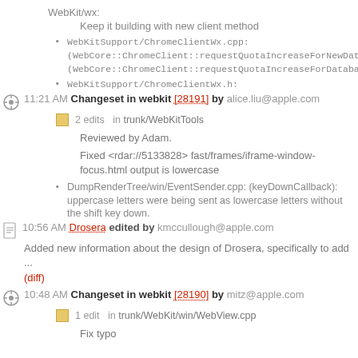WebKit/wx:
Keep it building with new client method
WebKitSupport/ChromeClientWx.cpp: (WebCore::ChromeClient::requestQuotaIncreaseForNewDatabase): (WebCore::ChromeClient::requestQuotaIncreaseForDatabaseOperation):
WebKitSupport/ChromeClientWx.h:
11:21 AM Changeset in webkit [28191] by alice.liu@apple.com
2 edits in trunk/WebKitTools
Reviewed by Adam.
Fixed <rdar://5133828> fast/frames/iframe-window-focus.html output is lowercase
DumpRenderTree/win/EventSender.cpp: (keyDownCallback): uppercase letters were being sent as lowercase letters without the shift key down.
10:56 AM Drosera edited by kmccullough@apple.com
Added new information about the design of Drosera, specifically to add ...
(diff)
10:48 AM Changeset in webkit [28190] by mitz@apple.com
1 edit in trunk/WebKit/win/WebView.cpp
Fix typo